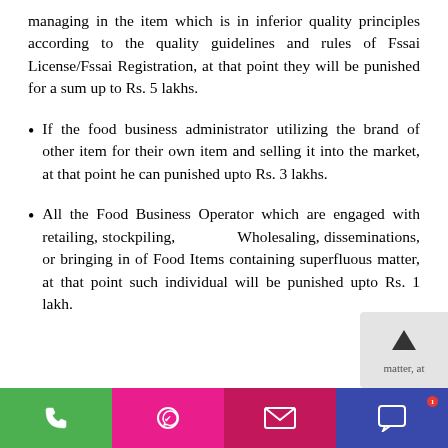managing in the item which is in inferior quality principles according to the quality guidelines and rules of Fssai License/Fssai Registration, at that point they will be punished for a sum up to Rs. 5 lakhs.
If the food business administrator utilizing the brand of other item for their own item and selling it into the market, at that point he can punished upto Rs. 3 lakhs.
All the Food Business Operator which are engaged with retailing, stockpiling, Wholesaling, disseminations, or bringing in of Food Items containing superfluous matter, at that point such individual will be punished upto Rs. 1 lakh.